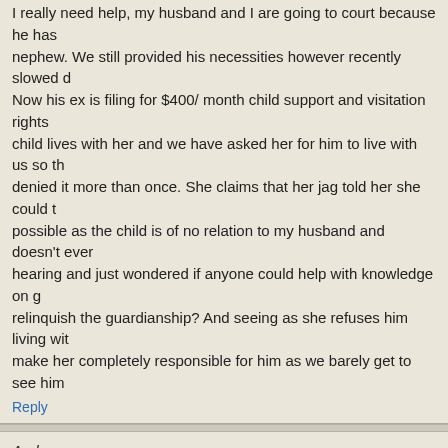I really need help, my husband and I are going to court because he has guardianship of his nephew. We still provided his necessities however recently slowed d... Now his ex is filing for $400/ month child support and visitation rights child lives with her and we have asked her for him to live with us so th denied it more than once. She claims that her jag told her she could t possible as the child is of no relation to my husband and doesn't ever hearing and just wondered if anyone could help with knowledge on g relinquish the guardianship? And seeing as she refuses him living wit make her completely responsible for him as we barely get to see him
Reply
Andersonn says:
I have had my brother for a year now who is now 14 and i am 21, we able to get any kind of ssi benifits to help take care of him?
Reply
Needa says:
My brothers are adopted and the case is finalized, is there a chance
Reply
Alexis McGrath says:
If my brother gets legal guardianship of me before I'm 18, can I be pu